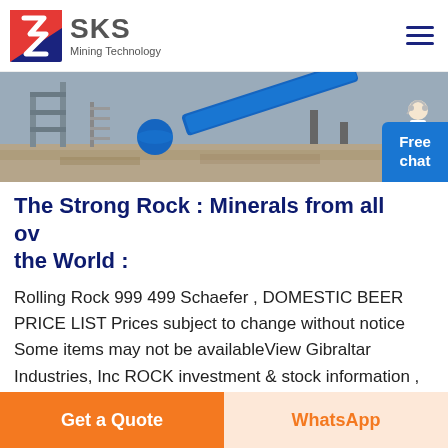SKS Mining Technology
[Figure (photo): Mining equipment scene showing industrial conveyor belts and machinery outdoors]
The Strong Rock : Minerals from all over the World :
Rolling Rock 999 499 Schaefer , DOMESTIC BEER PRICE LIST Prices subject to change without notice Some items may not be availableView Gibraltar Industries, Inc ROCK investment & stock information , Strong Buy or Buy, , the Price, Consensus & Surprise
Get a Quote
WhatsApp